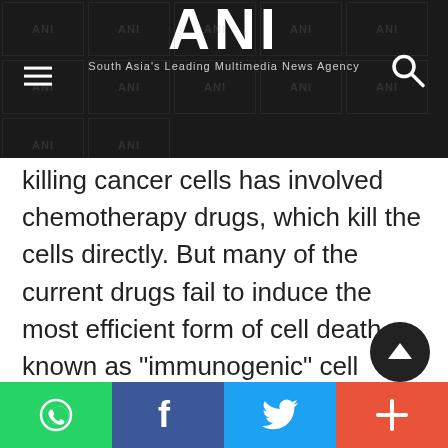ANI — South Asia's Leading Multimedia News Agency
killing cancer cells has involved chemotherapy drugs, which kill the cells directly. But many of the current drugs fail to induce the most efficient form of cell death, known as "immunogenic" cell death, which activates the release of a protein called a "go" or "danger" signal.
The "go" signal prompts immune cells-called dendritic cells-to spur T cells to eradicate tumors. Instead, most curre...
WhatsApp | Facebook | Twitter | +